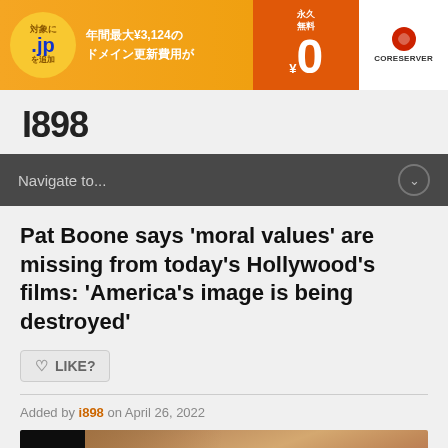[Figure (other): Japanese language banner advertisement for CORESERVER domain registration. Orange and white banner with Japanese text '対象に .jp を追加', '年間最大¥3,124のドメイン更新費用が', '永久無料 ¥0', and CORESERVER logo on the right.]
I898
Navigate to...
Pat Boone says 'moral values' are missing from today's Hollywood's films: 'America's image is being destroyed'
LIKE?
Added by i898 on April 26, 2022
[Figure (photo): Photograph of Pat Boone, an older man with light hair, photographed against a dark background with reddish backdrop elements.]